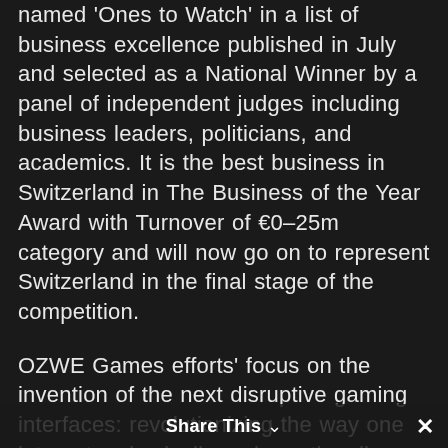named 'Ones to Watch' in a list of business excellence published in July and selected as a National Winner by a panel of independent judges including business leaders, politicians, and academics. It is the best business in Switzerland in The Business of the Year Award with Turnover of €0-25m category and will now go on to represent Switzerland in the final stage of the competition.
OZWE Games efforts' focus on the invention of the next disruptive gaming interfaces: revolutionizing the way one interacts, physically and emotionally, with evolving virtual universes. Stephane Intissar, CEO of OZWE Games, said: "We aim to lead by example, se[Share This]tandards,
Share This ∨